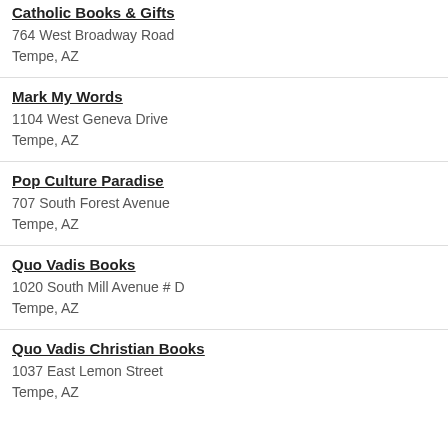Catholic Books & Gifts
764 West Broadway Road
Tempe, AZ
Mark My Words
1104 West Geneva Drive
Tempe, AZ
Pop Culture Paradise
707 South Forest Avenue
Tempe, AZ
Quo Vadis Books
1020 South Mill Avenue # D
Tempe, AZ
Quo Vadis Christian Books
1037 East Lemon Street
Tempe, AZ